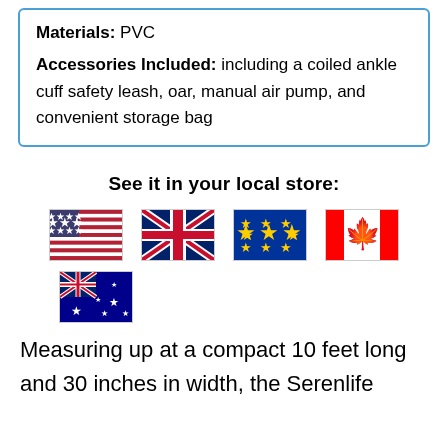Materials: PVC
Accessories Included: including a coiled ankle cuff safety leash, oar, manual air pump, and convenient storage bag
See it in your local store:
[Figure (illustration): Five country flags: USA, UK, EU, Canada, Australia]
Measuring up at a compact 10 feet long and 30 inches in width, the Serenlife